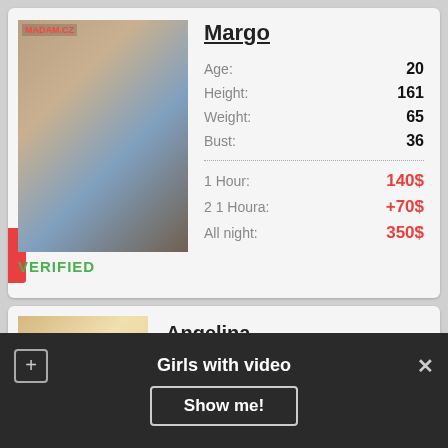[Figure (photo): Profile photo of Margo, a young blonde woman posed on a bed]
VERIFIED
Margo
| Attribute | Value |
| --- | --- |
| Age: | 20 |
| Height: | 161 |
| Weight: | 65 |
| Bust: | 36 |
| Service | Price |
| --- | --- |
| 1 Hour: | 140$ |
| 2 1 Houra: | +70$ |
| All night: | 350$ |
[Figure (photo): Profile photo of Angelina, partially visible]
Angelina
Girls with video
Show me!